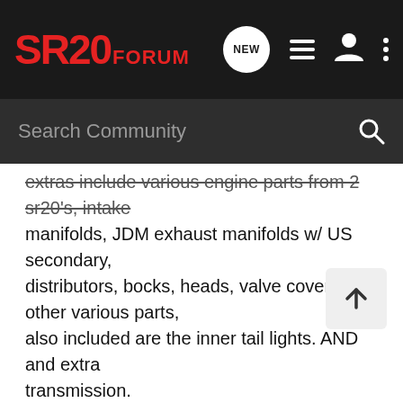SR20 FORUM
extras include various engine parts from 2 sr20's, intake manifolds, JDM exhaust manifolds w/ US secondary, distributors, bocks, heads, valve cover, and other various parts, also included are the inner tail lights. AND and extra transmission.
NEED $3k for this, really dont want to let it go, BUT NEED MONEY ASAP!
located in Morganton, NC
thanks.
email me at 92ClassicSER@nismo.org for more details.
scroll down for some pics or go to the following link: